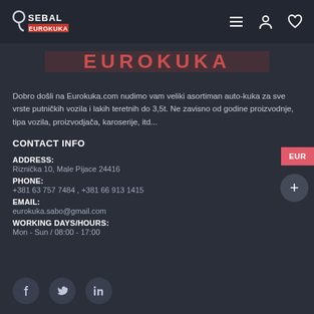Sebal Eurokuka — navigation header with logo and icons
[Figure (logo): Sebal Eurokuka logo on dark header bar with banner text EUROKUKA]
Dobro došli na Eurokuka.com nudimo vam veliki asortiman auto-kuka za sve vrste putničkih vozila i lakih teretnih do 3,5t. Ne zavisno od godine proizvodnje, tipa vozila, proizvodjača, karoserije, itd...
CONTACT INFO
ADDRESS:
Riznička 10, Male Pijace 24416
PHONE:
+381 63 757 7484 , +381 66 913 1415
EMAIL:
eurokuka.sabo@gmail.com
WORKING DAYS/HOURS:
Mon - Sun / 08:00 - 17:00
[Figure (illustration): Social media icons: Facebook, Twitter, LinkedIn in dark circular buttons]